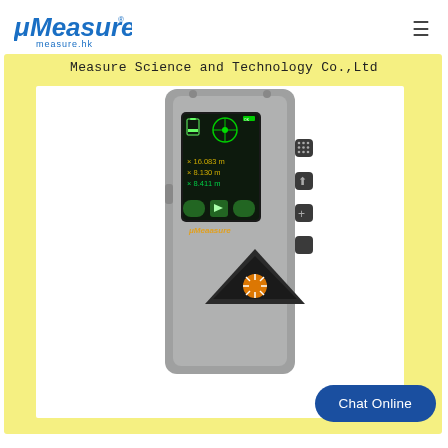[Figure (logo): μMeasure logo with italic stylized text and 'measure.hk' domain below]
[Figure (photo): Measure Science and Technology Co.,Ltd banner with yellow frame and laser distance meter device (μMeasure branded) showing digital display with measurements 16.083m and 8.130m, buttons on right side, laser emitter at bottom]
Chat Online